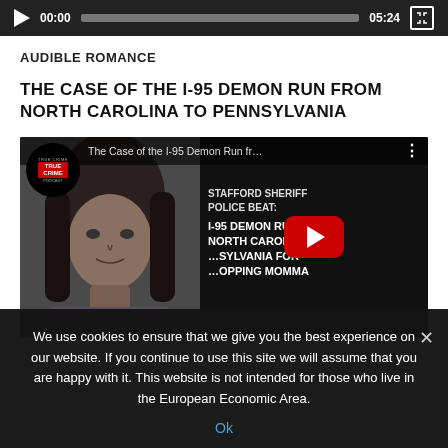[Figure (screenshot): Audio player bar with play button, timestamp 00:00, progress bar, end time 05:24, and fullscreen button on dark background]
AUDIBLE ROMANCE
THE CASE OF THE I-95 DEMON RUN FROM NORTH CAROLINA TO PENNSYLVANIA
[Figure (screenshot): YouTube video thumbnail showing a woman's face on the left and text overlay on the right reading 'STAFFORD SHERIFF POLICE BEAT: I-95 DEMON RUN FROM NORTH CAROLINA TO PENNSYLVANIA FOR ...' with YouTube play button and True Crime channel logo]
We use cookies to ensure that we give you the best experience on our website. If you continue to use this site we will assume that you are happy with it. This website is not intended for those who live in the European Economic Area.
Ok